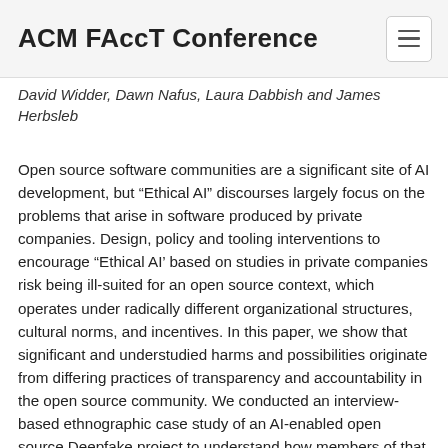ACM FAccT Conference
David Widder, Dawn Nafus, Laura Dabbish and James Herbsleb
Open source software communities are a significant site of AI development, but “Ethical AI” discourses largely focus on the problems that arise in software produced by private companies. Design, policy and tooling interventions to encourage “Ethical AI’ based on studies in private companies risk being ill-suited for an open source context, which operates under radically different organizational structures, cultural norms, and incentives. In this paper, we show that significant and understudied harms and possibilities originate from differing practices of transparency and accountability in the open source community. We conducted an interview-based ethnographic case study of an AI-enabled open source Deepfake project to understand how members of that community reason about the ethics of their work. We found that notions of the “Freedom 0” to use code without any restriction, alongside beliefs about technology neutrality and technological inevitability, were central to how community members framed their responsibilities, and the actions they believed were and were not available to them. We